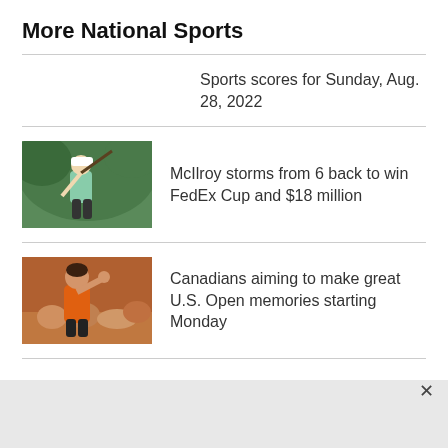More National Sports
Sports scores for Sunday, Aug. 28, 2022
[Figure (photo): Golfer swinging a club, wearing white cap and light blue shirt, green trees in background]
McIlroy storms from 6 back to win FedEx Cup and $18 million
[Figure (photo): Female tennis player in orange outfit celebrating, crowd in background]
Canadians aiming to make great U.S. Open memories starting Monday